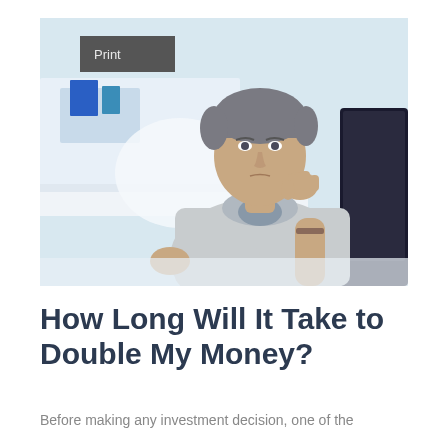[Figure (photo): Middle-aged man in a light grey sweater sitting at a desk, resting his chin on his hand in a thoughtful pose, with a blurred office background and a computer monitor on the right side.]
How Long Will It Take to Double My Money?
Before making any investment decision, one of the